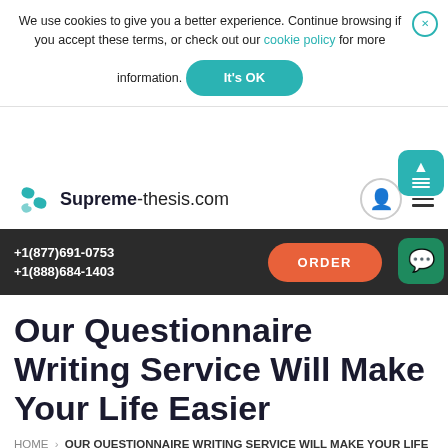We use cookies to give you a better experience. Continue browsing if you accept these terms, or check out our cookie policy for more information.
It's OK
[Figure (logo): Supreme-thesis.com logo with teal S icon]
+1(877)691-0753
+1(888)684-1403
ORDER
Our Questionnaire Writing Service Will Make Your Life Easier
HOME › OUR QUESTIONNAIRE WRITING SERVICE WILL MAKE YOUR LIFE EASIER